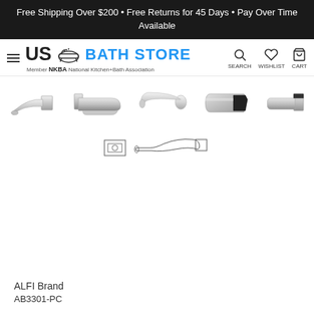Free Shipping Over $200 • Free Returns for 45 Days • Pay Over Time Available
[Figure (logo): US Bath Store logo with hamburger menu, NKBA member text, and navigation icons for Search, Wishlist, Cart]
[Figure (photo): Five product thumbnail images of ALFI Brand AB3301-PC chrome tub spout shown from different angles]
[Figure (engineering-diagram): Technical line drawing diagram of tub spout showing front and side profile views]
ALFI Brand
AB3301-PC